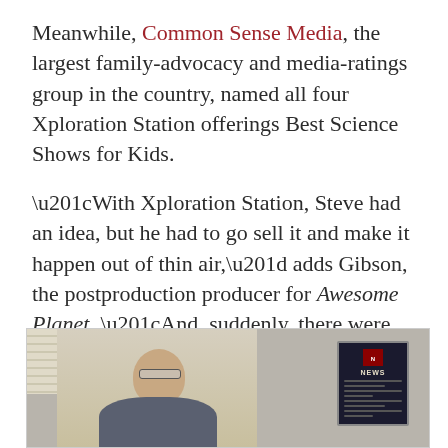Meanwhile, Common Sense Media, the largest family-advocacy and media-ratings group in the country, named all four Xploration Station offerings Best Science Shows for Kids.
“With Xploration Station, Steve had an idea, but he had to go sell it and make it happen out of thin air,” adds Gibson, the postproduction producer for Awesome Planet. “And, suddenly, there were these new shows. Now he’s, like, Mr. Television. He’s multitalented.”
[Figure (photo): A man in a suit jacket with glasses smiling, photographed indoors in front of window blinds, with a framed NEWS award plaque visible on the wall to the right.]